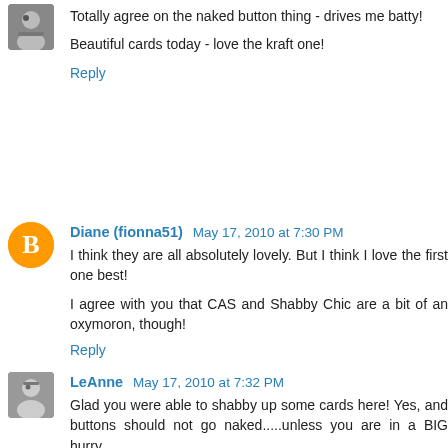Totally agree on the naked button thing - drives me batty!
Beautiful cards today - love the kraft one!
Reply
Diane (fionna51) May 17, 2010 at 7:30 PM
I think they are all absolutely lovely. But I think I love the first one best!
I agree with you that CAS and Shabby Chic are a bit of an oxymoron, though!
Reply
LeAnne May 17, 2010 at 7:32 PM
Glad you were able to shabby up some cards here! Yes, and buttons should not go naked.....unless you are in a BIG hurry.
Reply